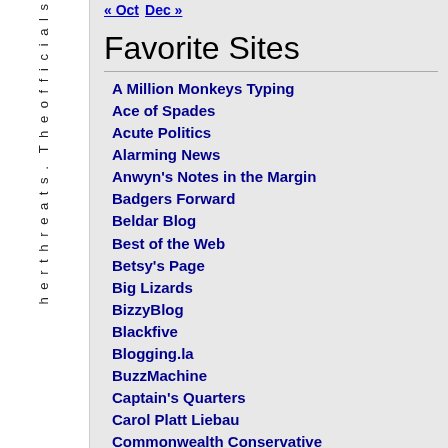h e r t h r e a t s . T h e o f f i c i a l s
« Oct   Dec »
Favorite Sites
A Million Monkeys Typing
Ace of Spades
Acute Politics
Alarming News
Anwyn's Notes in the Margin
Badgers Forward
Beldar Blog
Best of the Web
Betsy's Page
Big Lizards
BizzyBlog
Blackfive
Blogging.la
BuzzMachine
Captain's Quarters
Carol Platt Liebau
Commonwealth Conservative
Confirm Them
Constitutional Conservative
Cop the Truth
Countercolumn
Dan Weintraub
DANEgerus
Dave Barry
Day by Day
Dead Parrot Society
Dean's World